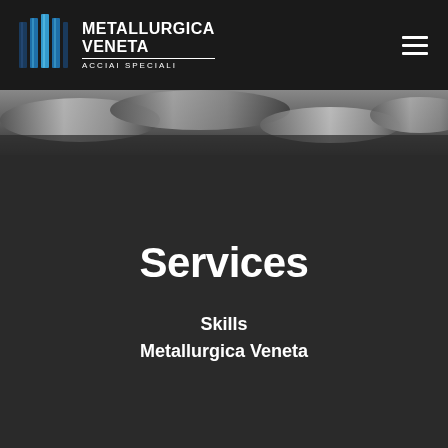METALLURGICA VENETA — ACCIAI SPECIALI
[Figure (photo): Close-up photo of shiny metallic steel bars or rods stacked together, dark industrial background]
Services
Skills
Metallurgica Veneta